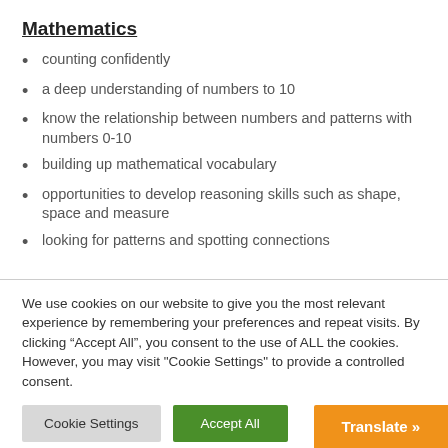Mathematics
counting confidently
a deep understanding of numbers to 10
know the relationship between numbers and patterns with numbers 0-10
building up mathematical vocabulary
opportunities to develop reasoning skills such as shape, space and measure
looking for patterns and spotting connections
We use cookies on our website to give you the most relevant experience by remembering your preferences and repeat visits. By clicking “Accept All”, you consent to the use of ALL the cookies. However, you may visit "Cookie Settings" to provide a controlled consent.
Cookie Settings | Accept All
Translate »